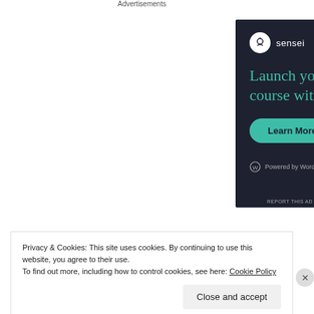Advertisements
[Figure (illustration): Sensei advertisement banner on dark background (#1e2130). Shows Sensei logo (bonsai tree icon in white circle) with 'sensei' text, headline 'Launch your online course with WordPress' in teal/green color, a teal 'Learn More' button, and 'Powered by WordPress.com' footer text.]
REPORT THIS AD
Privacy & Cookies: This site uses cookies. By continuing to use this website, you agree to their use.
To find out more, including how to control cookies, see here: Cookie Policy
Close and accept